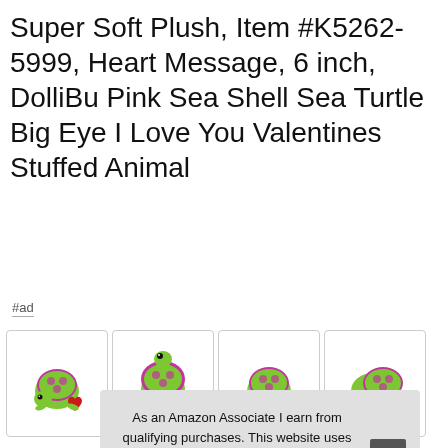Super Soft Plush, Item #K5262-5999, Heart Message, 6 inch, DolliBu Pink Sea Shell Sea Turtle Big Eye I Love You Valentines Stuffed Animal
#ad
[Figure (photo): Four thumbnail images of a green plush sea turtle stuffed animal with pink leopard-print shell, holding a red heart that says 'I Love You', shown from different angles]
Doll
sea
soft
you
As an Amazon Associate I earn from qualifying purchases. This website uses the only necessary cookies to ensure you get the best experience on our website. More information